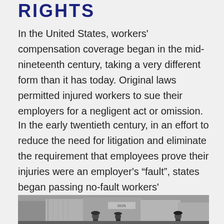RIGHTS
In the United States, workers' compensation coverage began in the mid-nineteenth century, taking a very different form than it has today. Original laws permitted injured workers to sue their employers for a negligent act or omission.
In the early twentieth century, in an effort to reduce the need for litigation and eliminate the requirement that employees prove their injuries were an employer's “fault”, states began passing no-fault workers' compensation laws.
[Figure (photo): Black and white historical photograph showing workers or people standing outdoors near industrial or warehouse buildings, early twentieth century era.]